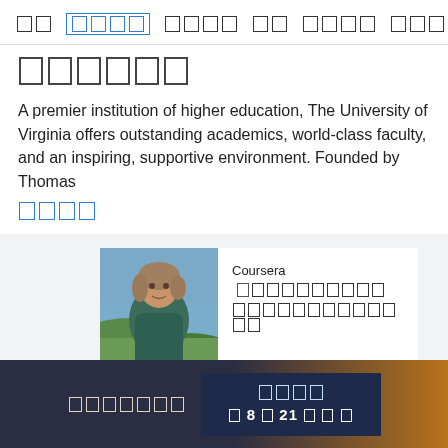□□  □□□□  □□□□  □□  □□□□  □□□□□□
□□□□□□
A premier institution of higher education, The University of Virginia offers outstanding academics, world-class faculty, and an inspiring, supportive environment. Founded by Thomas
□□□□
[Figure (photo): Portrait photo of a woman with gray-brown hair outdoors with hills/landscape in background]
Coursera □□□□□□□□□□□□ □□□□□□□□□□□□□□□□□□□
□□□□□□□
□□□□  □ 8□21□ □□